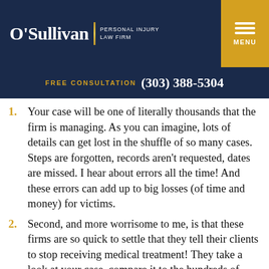O'Sullivan Personal Injury Law Firm — FREE CONSULTATION (303) 388-5304
Your case will be one of literally thousands that the firm is managing. As you can imagine, lots of details can get lost in the shuffle of so many cases. Steps are forgotten, records aren't requested, dates are missed. I hear about errors all the time! And these errors can add up to big losses (of time and money) for victims.
Second, and more worrisome to me, is that these firms are so quick to settle that they tell their clients to stop receiving medical treatment! They take a look at your case, compare it to the hundreds of other cases that they think are like yours, and they make a snap...